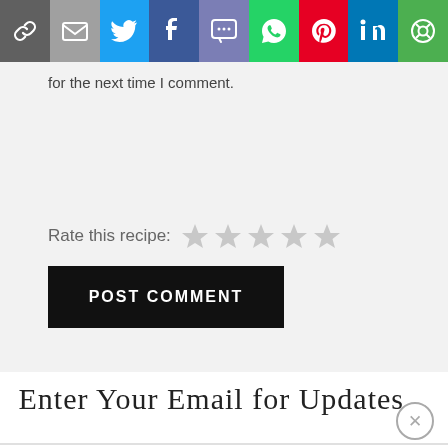[Figure (other): Social share bar with icons: link, email, Twitter, Facebook, SMS, WhatsApp, Pinterest, LinkedIn, More]
for the next time I comment.
Rate this recipe: ☆☆☆☆☆
POST COMMENT
Enter Your Email for Updates...
Your Email Here  SUBSCRIBE